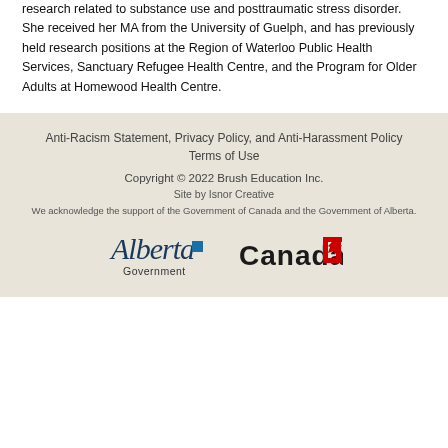research related to substance use and posttraumatic stress disorder. She received her MA from the University of Guelph, and has previously held research positions at the Region of Waterloo Public Health Services, Sanctuary Refugee Health Centre, and the Program for Older Adults at Homewood Health Centre.
Anti-Racism Statement, Privacy Policy, and Anti-Harassment Policy
Terms of Use
Copyright © 2022 Brush Education Inc.
Site by Isnor Creative
We acknowledge the support of the Government of Canada and the Government of Alberta.
[Figure (logo): Alberta Government logo — cursive Alberta wordmark with 'Government' below and a small blue square]
[Figure (logo): Canada wordmark — bold 'Canada' text with Canadian flag maple leaf flag symbol]